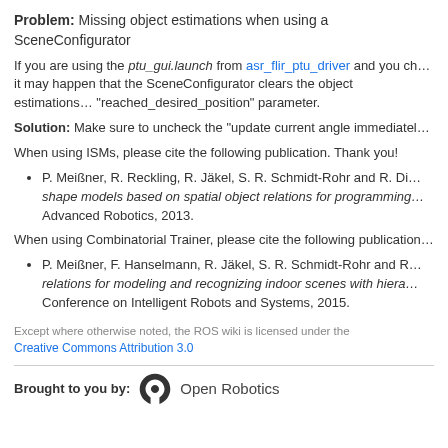Problem: Missing object estimations when using a SceneConfigurator
If you are using the ptu_gui.launch from asr_flir_ptu_driver and you ch... it may happen that the SceneConfigurator clears the object estimations... "reached_desired_position" parameter.
Solution: Make sure to uncheck the "update current angle immediatel...
When using ISMs, please cite the following publication. Thank you!
P. Meißner, R. Reckling, R. Jäkel, S. R. Schmidt-Rohr and R. Di... shape models based on spatial object relations for programming... Advanced Robotics, 2013.
When using Combinatorial Trainer, please cite the following publication...
P. Meißner, F. Hanselmann, R. Jäkel, S. R. Schmidt-Rohr and R... relations for modeling and recognizing indoor scenes with hiera... Conference on Intelligent Robots and Systems, 2015.
Except where otherwise noted, the ROS wiki is licensed under the Creative Commons Attribution 3.0
Brought to you by: Open Robotics